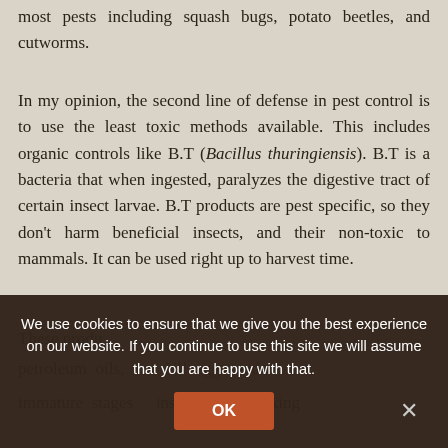most pests including squash bugs, potato beetles, and cutworms.
In my opinion, the second line of defense in pest control is to use the least toxic methods available. This includes organic controls like B.T (Bacillus thuringiensis). B.T is a bacteria that when ingested, paralyzes the digestive tract of certain insect larvae. B.T products are pest specific, so they don't harm beneficial insects, and their non-toxic to mammals. It can be used right up to harvest time.
These products, from plant and petroleum oils, also kill eggs and immature stages of insects, by blocking
We use cookies to ensure that we give you the best experience on our website. If you continue to use this site we will assume that you are happy with that.